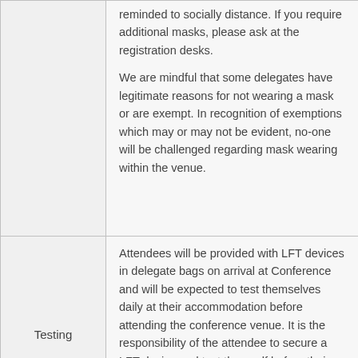| Category | Description |
| --- | --- |
|  | reminded to socially distance. If you require additional masks, please ask at the registration desks.

We are mindful that some delegates have legitimate reasons for not wearing a mask or are exempt. In recognition of exemptions which may or may not be evident, no-one will be challenged regarding mask wearing within the venue. |
| Testing | Attendees will be provided with LFT devices in delegate bags on arrival at Conference and will be expected to test themselves daily at their accommodation before attending the conference venue. It is the responsibility of the attendee to secure a LFT device and test themself before their first arrival at Conference. If you require additional LFT devices, please ask at the registration desks. |